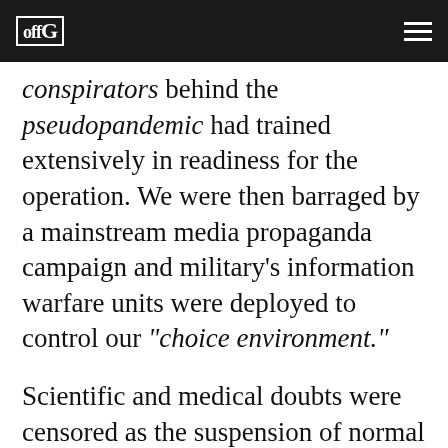offG [logo]
conspirators behind the pseudopandemic had trained extensively in readiness for the operation. We were then barraged by a mainstream media propaganda campaign and military's information warfare units were deployed to control our “choice environment.”
Scientific and medical doubts were censored as the suspension of normal democratic processes was exploited to introduce the biosecurity state. Laws were passed to allow government to commit any crime it wished in pursuit of